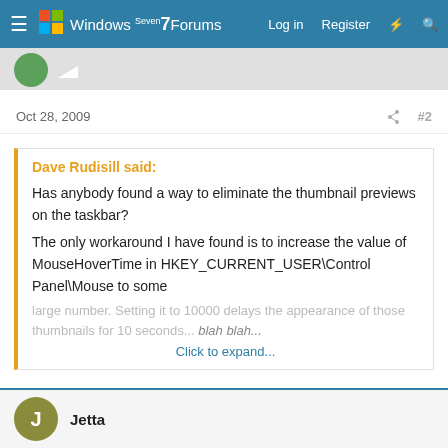Windows 7 Forums — Log in  Register
Oct 28, 2009  #2
Dave Rudisill said:
Has anybody found a way to eliminate the thumbnail previews on the taskbar?

The only workaround I have found is to increase the value of MouseHoverTime in HKEY_CURRENT_USER\Control Panel\Mouse to some large number. Setting it to 10000 delays the appearance of those thumbnails for 10 seconds... Click to expand...
Have a look at this:
http://www.blogsdna.com/2056/how-to-enable-or-disable-taskbar-thumbnails-preview-in-windows-7.htm
Jetta